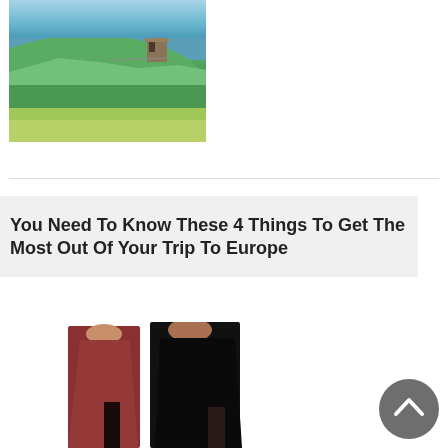[Figure (photo): Cliffs of Moher with O'Brien's Tower on a grassy clifftop overlooking the ocean]
You Need To Know These 4 Things To Get The Most Out Of Your Trip To Europe
[Figure (photo): Two women wearing sleeveless midi dresses — one in dark red/burgundy and one in black]
[Figure (other): Scroll-to-top button (upward chevron in a dark circle)]